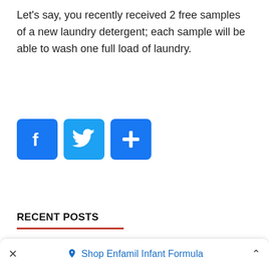Let's say, you recently received 2 free samples of a new laundry detergent; each sample will be able to wash one full load of laundry.
[Figure (infographic): Three social sharing icon buttons: Facebook (blue, F logo), Twitter (light blue, bird logo), and a blue plus/share button]
RECENT POSTS
× Shop Enfamil Infant Formula ^